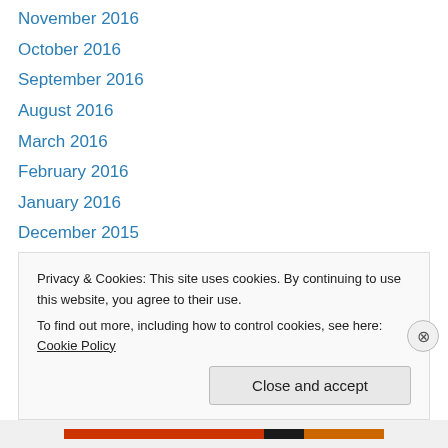November 2016
October 2016
September 2016
August 2016
March 2016
February 2016
January 2016
December 2015
November 2015
October 2015
September 2015
August 2015
July 2015
Privacy & Cookies: This site uses cookies. By continuing to use this website, you agree to their use.
To find out more, including how to control cookies, see here: Cookie Policy